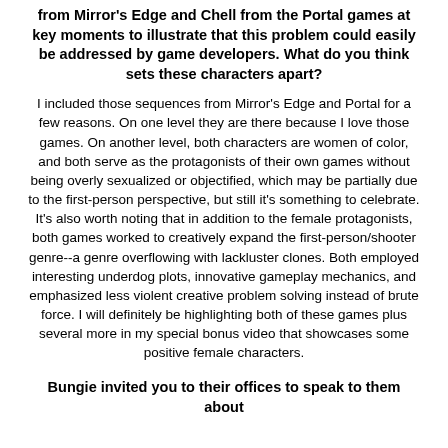from Mirror's Edge and Chell from the Portal games at key moments to illustrate that this problem could easily be addressed by game developers. What do you think sets these characters apart?
I included those sequences from Mirror's Edge and Portal for a few reasons. On one level they are there because I love those games. On another level, both characters are women of color, and both serve as the protagonists of their own games without being overly sexualized or objectified, which may be partially due to the first-person perspective, but still it's something to celebrate. It's also worth noting that in addition to the female protagonists, both games worked to creatively expand the first-person/shooter genre--a genre overflowing with lackluster clones. Both employed interesting underdog plots, innovative gameplay mechanics, and emphasized less violent creative problem solving instead of brute force. I will definitely be highlighting both of these games plus several more in my special bonus video that showcases some positive female characters.
Bungie invited you to their offices to speak to them about